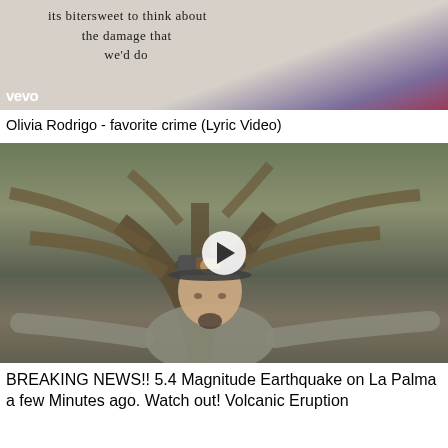[Figure (screenshot): Thumbnail of Olivia Rodrigo favorite crime lyric video on Vevo, showing handwritten lyrics on a light background with Vevo logo]
Olivia Rodrigo - favorite crime (Lyric Video)
[Figure (screenshot): Thumbnail of a video showing a man with a baseball cap standing near tree branches with a play button overlay]
BREAKING NEWS!! 5.4 Magnitude Earthquake on La Palma a few Minutes ago. Watch out! Volcanic Eruption